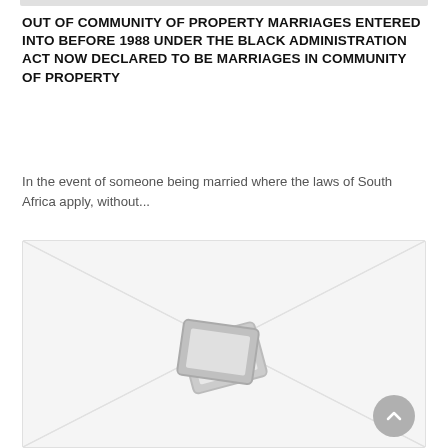OUT OF COMMUNITY OF PROPERTY MARRIAGES ENTERED INTO BEFORE 1988 UNDER THE BLACK ADMINISTRATION ACT NOW DECLARED TO BE MARRIAGES IN COMMUNITY OF PROPERTY
In the event of someone being married where the laws of South Africa apply, without...
[Figure (illustration): Placeholder image with diagonal lines and two overlapping photo frame icons in the center, with a scroll-to-top button in the bottom right corner.]